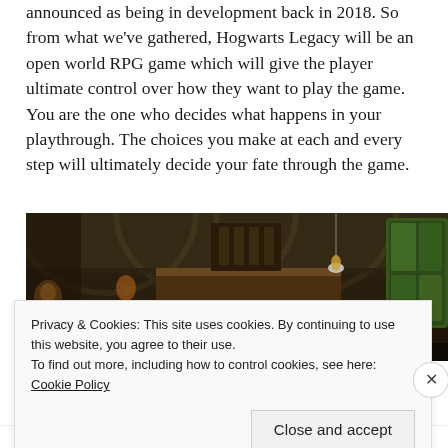announced as being in development back in 2018. So from what we've gathered, Hogwarts Legacy will be an open world RPG game which will give the player ultimate control over how they want to play the game. You are the one who decides what happens in your playthrough. The choices you make at each and every step will ultimately decide your fate through the game.
[Figure (photo): Interior of Hogwarts castle showing gothic vaulted stone ceiling, wooden balcony/staircase, torches on walls, and stained glass windows in warm amber and green tones.]
Privacy & Cookies: This site uses cookies. By continuing to use this website, you agree to their use.
To find out more, including how to control cookies, see here: Cookie Policy